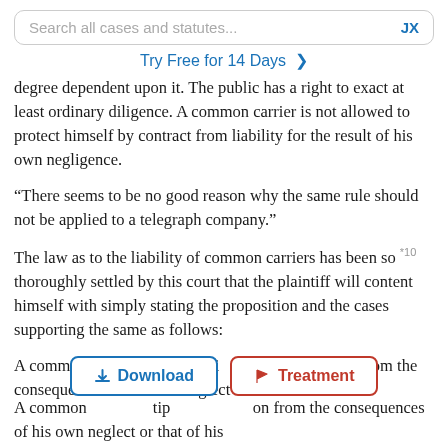Search all cases and statutes...  JX
Try Free for 14 Days >
degree dependent upon it. The public has a right to exact at least ordinary diligence. A common carrier is not allowed to protect himself by contract from liability for the result of his own negligence.
“There seems to be no good reason why the same rule should not be applied to a telegraph company.”
The law as to the liability of common carriers has been so *10 thoroughly settled by this court that the plaintiff will content himself with simply stating the proposition and the cases supporting the same as follows:
A common carrier cannot stipulate for exemption from the consequences of his own neglect or that of his
[Figure (screenshot): Two UI buttons: a blue 'Download' button with download icon and a red 'Treatment' button with flag icon]